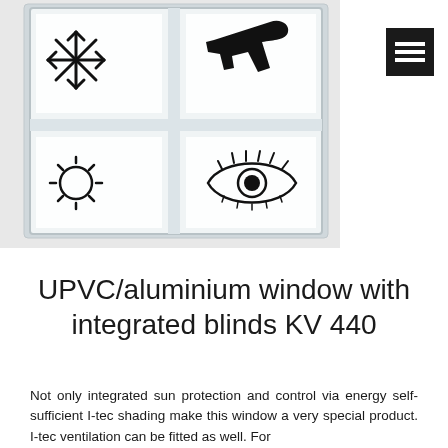[Figure (illustration): A white UPVC/aluminium window frame with 4 panes. Each pane contains a black line-drawing icon: top-left snowflake, top-right airplane, bottom-left sun, bottom-right eye with lashes. The window sits against a light gray background.]
[Figure (illustration): Black square with three white horizontal lines (hamburger/menu icon)]
UPVC/aluminium window with integrated blinds KV 440
Not only integrated sun protection and control via energy self-sufficient I-tec shading make this window a very special product. I-tec ventilation can be fitted as well. For